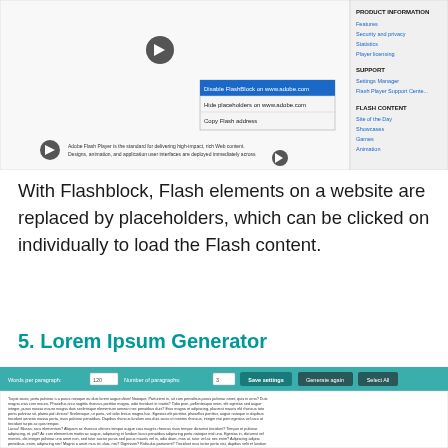[Figure (screenshot): Screenshot of Adobe Flash Player website with Flashblock context menu showing options: 'Disable FlashBlock on www.adobe.com', 'Hide placeholders on www.adobe.com', 'Copy Flash address'. Right sidebar shows product information navigation links.]
With Flashblock, Flash elements on a website are replaced by placeholders, which can be clicked on individually to load the Flash content.
5. Lorem Ipsum Generator
[Figure (screenshot): Screenshot of Lorem Ipsum Generator web tool with settings bar showing 'Words per paragraph: 120', 'Number of paragraphs: 3', 'Save settings' button, 'Generate again' button, 'Select All' button, and generated Lorem Ipsum text below.]